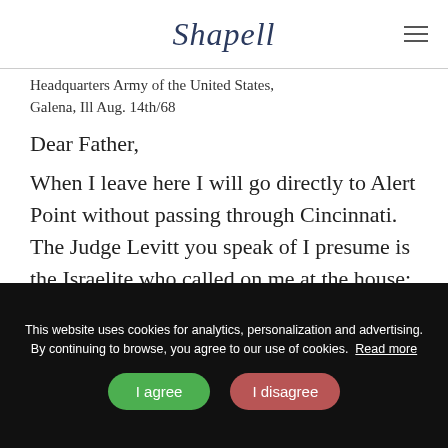Shapell
Headquarters Army of the United States,
Galena, Ill Aug. 14th/68
Dear Father,
When I leave here I will go directly to Alert Point without passing through Cincinnati. The Judge Levitt you speak of I presume is the Israelite who called on me at the house: If so I received his communication but not for three weeks after it was written. It was sent to St. Louis
This website uses cookies for analytics, personalization and advertising. By continuing to browse, you agree to our use of cookies. Read more
I agree
I disagree